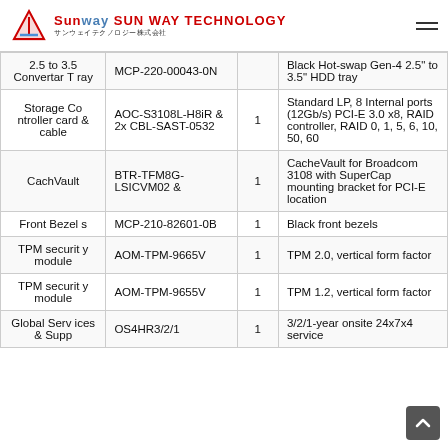SUN WAY TECHNOLOGY サンウェイテクノロジー株式会社
|  | Model | Qty | Description |
| --- | --- | --- | --- |
| 2.5 to 3.5 Convertar T ray | MCP-220-00043-0N |  | Black Hot-swap Gen-4 2.5" to 3.5" HDD tray |
| Storage Controller card & cable | AOC-S3108L-H8iR & 2x CBL-SAST-0532 | 1 | Standard LP, 8 Internal ports (12Gb/s) PCI-E 3.0 x8, RAID controller, RAID 0, 1, 5, 6, 10, 50, 60 |
| CachVault | BTR-TFM8G-LSICVM02 & | 1 | CacheVault for Broadcom 3108 with SuperCap mounting bracket for PCI-E location |
| Front Bezels | MCP-210-82601-0B | 1 | Black front bezels |
| TPM security module | AOM-TPM-9665V | 1 | TPM 2.0, vertical form factor |
| TPM security module | AOM-TPM-9655V | 1 | TPM 1.2, vertical form factor |
| Global Services & Supp | OS4HR3/2/1 | 1 | 3/2/1-year onsite 24x7x4 service |